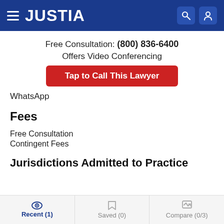JUSTIA
Free Consultation: (800) 836-6400
Offers Video Conferencing
Tap to Call This Lawyer
WhatsApp
Fees
Free Consultation
Contingent Fees
Jurisdictions Admitted to Practice
Recent (1)   Saved (0)   Compare (0/3)